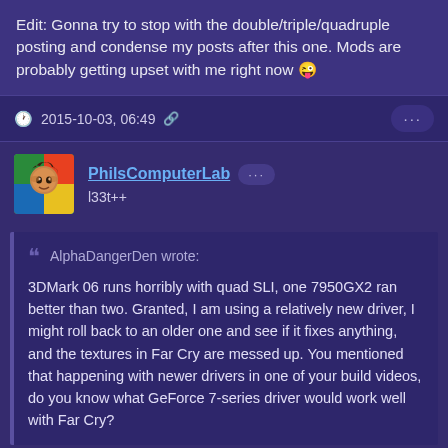Edit: Gonna try to stop with the double/triple/quadruple posting and condense my posts after this one. Mods are probably getting upset with me right now 😜
2015-10-03, 06:49
PhilsComputerLab • l33t++
AlphaDangerDen wrote: 3DMark 06 runs horribly with quad SLI, one 7950GX2 ran better than two. Granted, I am using a relatively new driver, I might roll back to an older one and see if it fixes anything, and the textures in Far Cry are messed up. You mentioned that happening with newer drivers in one of your build videos, do you know what GeForce 7-series driver would work well with Far Cry?